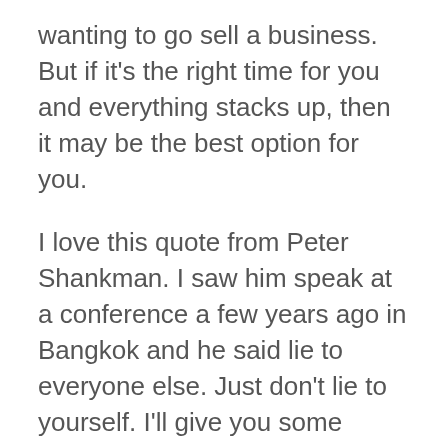wanting to go sell a business. But if it's the right time for you and everything stacks up, then it may be the best option for you.
I love this quote from Peter Shankman. I saw him speak at a conference a few years ago in Bangkok and he said lie to everyone else. Just don't lie to yourself. I'll give you some context around this. This quote Peter was saying before saying this quote, he mentioned he speaks all over the world. I saw him in Bangkok, he lives in New York he speaks all over the world